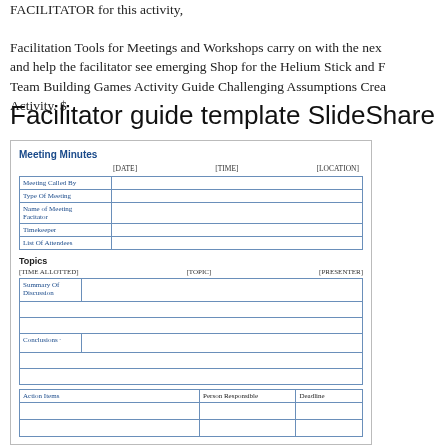FACILITATOR for this activity, Facilitation Tools for Meetings and Workshops carry on with the next and help the facilitator see emerging Shop for the Helium Stick and R Team Building Games Activity Guide Challenging Assumptions Crea Activity. $
Facilitator guide template SlideShare
[Figure (other): Meeting Minutes template form with sections for date, time, location, meeting called by, type of meeting, name of meeting facilitator, timekeeper, list of attendees, topics section with time allotted/topic/presenter columns, summary of discussion rows, conclusions row, and action items table with person responsible and deadline columns.]